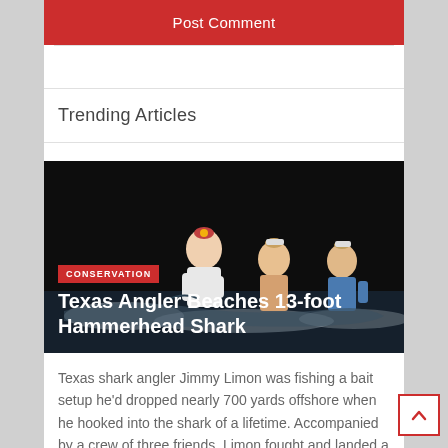Post Comment
Trending Articles
[Figure (photo): Night photo of three men in water with a large hammerhead shark on the beach, CONSERVATION badge overlay, headline 'Texas Angler Beaches 13-foot Hammerhead Shark']
Texas shark angler Jimmy Limon was fishing a bait setup he'd dropped nearly 700 yards offshore when he hooked into the shark of a lifetime. Accompanied by a crew of three friends, Limon fought and landed a 13-foot, 3-inch